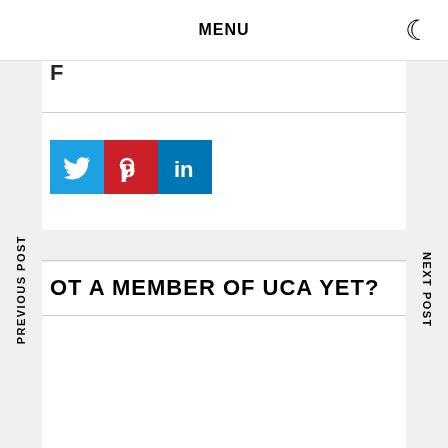MENU
[Figure (screenshot): Social media share buttons: Twitter (blue), Pinterest (red), LinkedIn (blue)]
NOT A MEMBER OF UCA YET?
PREVIOUS POST
NEXT POST